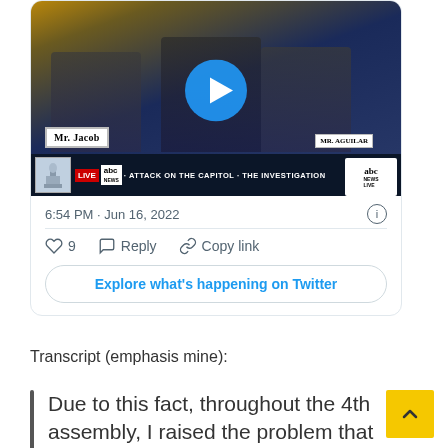[Figure (screenshot): Twitter/X card showing embedded video screenshot of a congressional hearing. Video shows two men seated at a table with name plates reading MR. JACOB and MR. AGUILAR. A blue play button overlay is visible. News ticker at bottom reads: LIVE ABC NEWS ATTACK ON THE CAPITOL THE INVESTIGATION. Timestamp shows 6:54 PM · Jun 16, 2022. Interaction options show: 9 likes, Reply, Copy link. Button reads: Explore what's happening on Twitter.]
Transcript (emphasis mine):
Due to this fact, throughout the 4th assembly, I raised the problem that either one of Mr. Eastman's proposals would violate a number of provisions of the